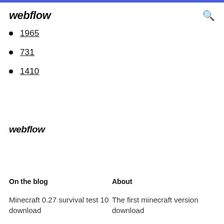webflow
1965
731
1410
webflow
On the blog
About
Minecraft 0.27 survival test 10 download
The first minecraft version download